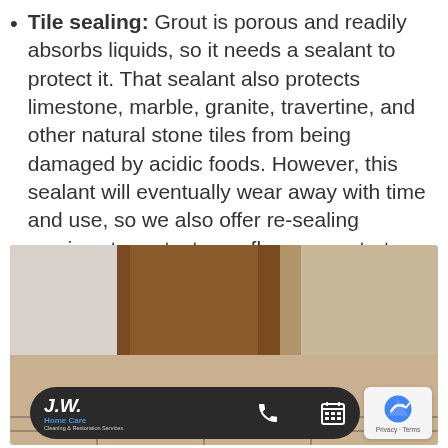Tile sealing: Grout is porous and readily absorbs liquids, so it needs a sealant to protect it. That sealant also protects limestone, marble, granite, travertine, and other natural stone tiles from being damaged by acidic foods. However, this sealant will eventually wear away with time and use, so we also offer re-sealing services to protect your floors, countertops, and other surfaces.
[Figure (photo): Interior photo showing a wooden door with tile flooring, overlaid with a dark rounded toolbar at the bottom containing J.W. Home Care Cleaning & Restoration Services logo, a phone icon, and a calendar icon, plus a reCAPTCHA badge in the bottom right corner.]